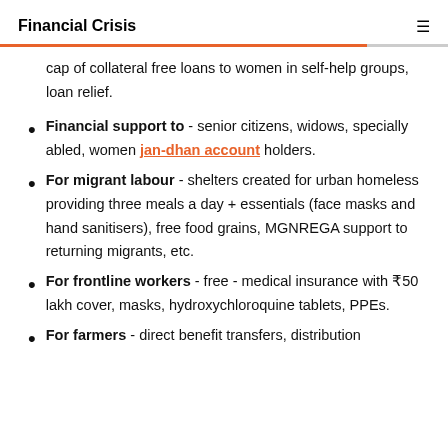Financial Crisis
cap of collateral free loans to women in self-help groups, loan relief.
Financial support to - senior citizens, widows, specially abled, women jan-dhan account holders.
For migrant labour - shelters created for urban homeless providing three meals a day + essentials (face masks and hand sanitisers), free food grains, MGNREGA support to returning migrants, etc.
For frontline workers - free - medical insurance with ₹50 lakh cover, masks, hydroxychloroquine tablets, PPEs.
For farmers - direct benefit transfers, distribution